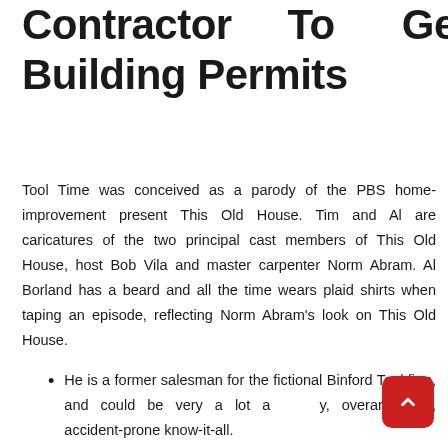Contractor To Get Building Permits
Tool Time was conceived as a parody of the PBS home-improvement present This Old House. Tim and Al are caricatures of the two principal cast members of This Old House, host Bob Vila and master carpenter Norm Abram. Al Borland has a beard and all the time wears plaid shirts when taping an episode, reflecting Norm Abram's look on This Old House.
He is a former salesman for the fictional Binford Tool firm, and could be very a lot arrogantly, overambitious, accident-prone know-it-all.